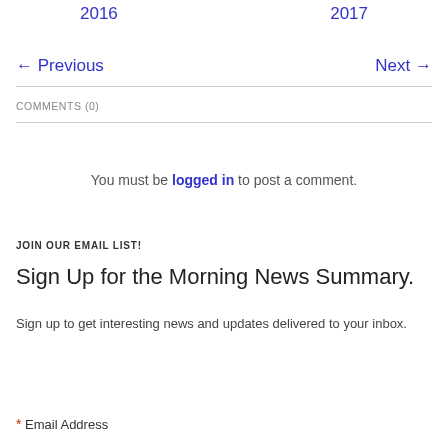2016   2017
← Previous   Next →
COMMENTS (0)
You must be logged in to post a comment.
JOIN OUR EMAIL LIST!
Sign Up for the Morning News Summary.
Sign up to get interesting news and updates delivered to your inbox.
* Email Address